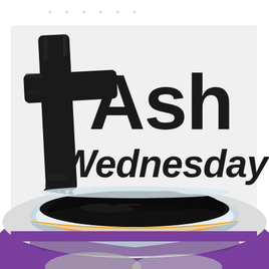[Figure (illustration): Ash Wednesday religious illustration featuring a large brushstroke cross symbol integrated with the text 'Ash Wednesday' in bold black handwritten/brush lettering, on a light gray background. Below the text is a decorative bowl with orange and silver/white rim containing dark black ashes, sitting on a purple surface. At the very bottom, a partial view of what appears to be another bowl or circular element is visible.]